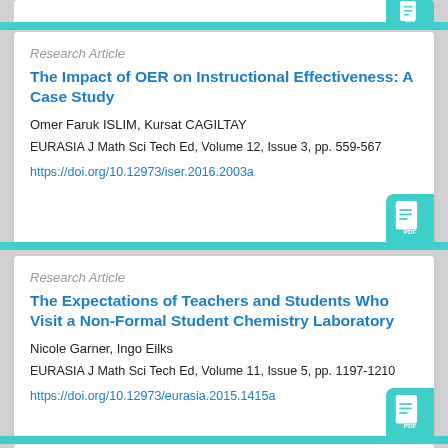Research Article
The Impact of OER on Instructional Effectiveness: A Case Study
Omer Faruk ISLIM, Kursat CAGILTAY
EURASIA J Math Sci Tech Ed, Volume 12, Issue 3, pp. 559-567
https://doi.org/10.12973/iser.2016.2003a
Research Article
The Expectations of Teachers and Students Who Visit a Non-Formal Student Chemistry Laboratory
Nicole Garner, Ingo Eilks
EURASIA J Math Sci Tech Ed, Volume 11, Issue 5, pp. 1197-1210
https://doi.org/10.12973/eurasia.2015.1415a
Research Article